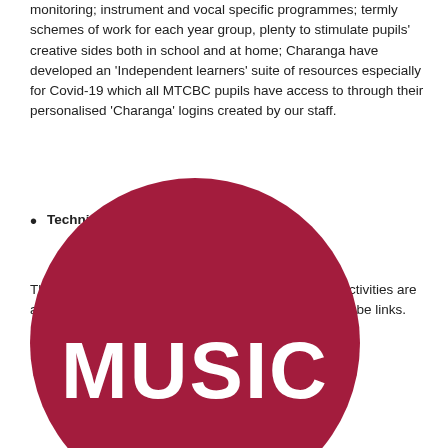monitoring; instrument and vocal specific programmes; termly schemes of work for each year group, plenty to stimulate pupils' creative sides both in school and at home; Charanga have developed an ‘Independent learners’ suite of resources especially for Covid-19 which all MTCBC pupils have access to through their personalised ‘Charanga’ logins created by our staff.
Technique/warm-up videos.
The instrumental/vocal instructional and informative activities are available for pupils via Charanga, Teams and/or YouTube links.
[Figure (illustration): A dark red/crimson circle containing the word MUSIC in large white bold text, partially cropped at the bottom of the page.]